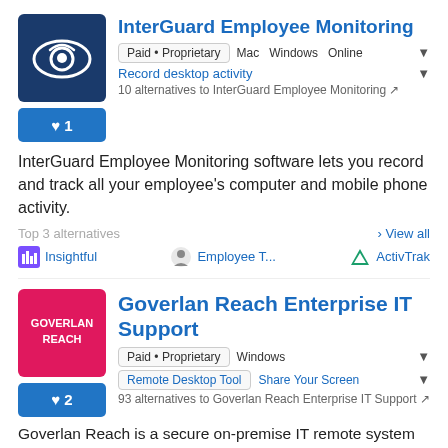[Figure (logo): InterGuard Employee Monitoring logo: dark blue background with white eye/sphere icon]
InterGuard Employee Monitoring
Paid • Proprietary  Mac  Windows  Online
Record desktop activity
10 alternatives to InterGuard Employee Monitoring ↗
❤ 1
InterGuard Employee Monitoring software lets you record and track all your employee's computer and mobile phone activity.
Top 3 alternatives
› View all
Insightful  Employee T...  ActivTrak
[Figure (logo): Goverlan Reach logo: hot pink/red background with white text GOVERLAN REACH]
Goverlan Reach Enterprise IT Support
Paid • Proprietary  Windows
Remote Desktop Tool  Share Your Screen
93 alternatives to Goverlan Reach Enterprise IT Support ↗
❤ 2
Goverlan Reach is a secure on-premise IT remote system